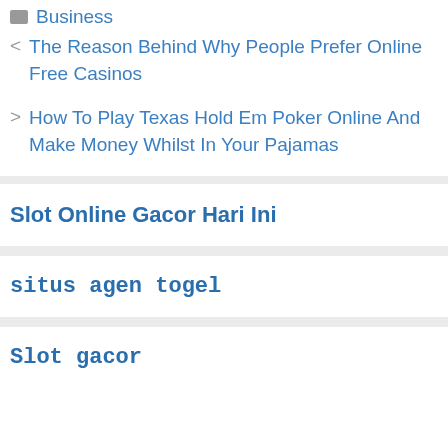Business
< The Reason Behind Why People Prefer Online Free Casinos
> How To Play Texas Hold Em Poker Online And Make Money Whilst In Your Pajamas
Slot Online Gacor Hari Ini
situs agen togel
Slot gacor